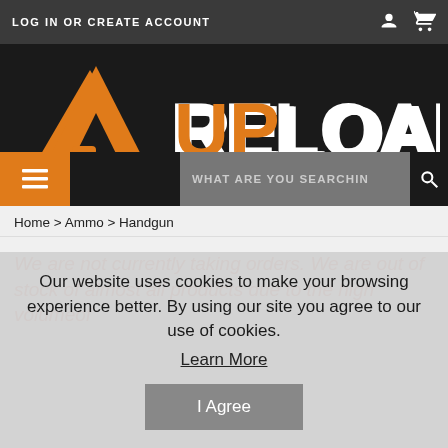LOG IN OR CREATE ACCOUNT
[Figure (logo): ReloadUp logo with orange arrow/gun icon and white RELOAD orange UP text on dark background]
Home > Ammo > Handgun
We are not currently taking orders. We are out of stock of almost all products due to the high volume of
Our website uses cookies to make your browsing experience better. By using our site you agree to our use of cookies. Learn More I Agree